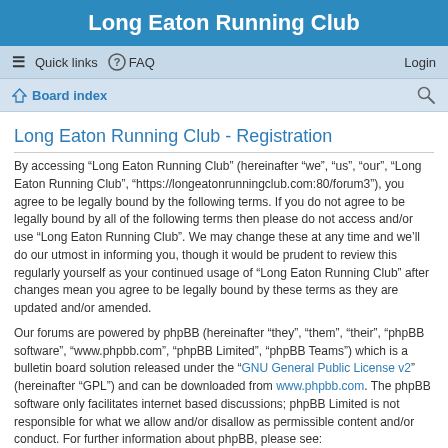Long Eaton Running Club
≡ Quick links  ? FAQ    Login
⌂ Board index
Long Eaton Running Club - Registration
By accessing “Long Eaton Running Club” (hereinafter “we”, “us”, “our”, “Long Eaton Running Club”, “https://longeatonrunningclub.com:80/forum3”), you agree to be legally bound by the following terms. If you do not agree to be legally bound by all of the following terms then please do not access and/or use “Long Eaton Running Club”. We may change these at any time and we’ll do our utmost in informing you, though it would be prudent to review this regularly yourself as your continued usage of “Long Eaton Running Club” after changes mean you agree to be legally bound by these terms as they are updated and/or amended.
Our forums are powered by phpBB (hereinafter “they”, “them”, “their”, “phpBB software”, “www.phpbb.com”, “phpBB Limited”, “phpBB Teams”) which is a bulletin board solution released under the “GNU General Public License v2” (hereinafter “GPL”) and can be downloaded from www.phpbb.com. The phpBB software only facilitates internet based discussions; phpBB Limited is not responsible for what we allow and/or disallow as permissible content and/or conduct. For further information about phpBB, please see: https://www.phpbb.com/.